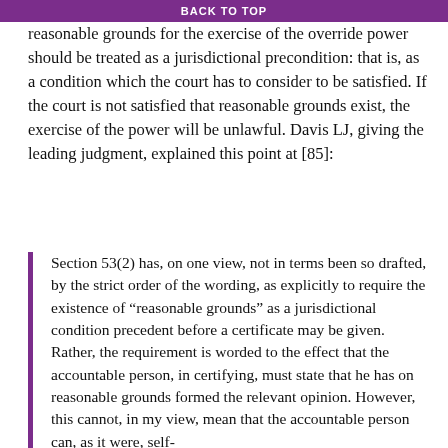BACK TO TOP
reasonable grounds for the exercise of the override power should be treated as a jurisdictional precondition: that is, as a condition which the court has to consider to be satisfied. If the court is not satisfied that reasonable grounds exist, the exercise of the power will be unlawful. Davis LJ, giving the leading judgment, explained this point at [85]:
Section 53(2) has, on one view, not in terms been so drafted, by the strict order of the wording, as explicitly to require the existence of “reasonable grounds” as a jurisdictional condition precedent before a certificate may be given. Rather, the requirement is worded to the effect that the accountable person, in certifying, must state that he has on reasonable grounds formed the relevant opinion. However, this cannot, in my view, mean that the accountable person can, as it were, self-